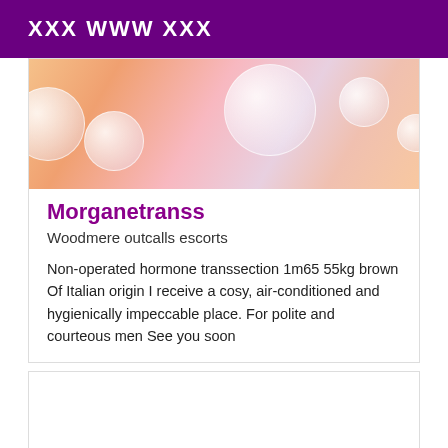XXX WWW XXX
[Figure (photo): Decorative blurred image with soft peach, pink and purple tones with translucent bubble-like circular shapes]
Morganetranss
Woodmere outcalls escorts
Non-operated hormone transsection 1m65 55kg brown Of Italian origin I receive a cosy, air-conditioned and hygienically impeccable place. For polite and courteous men See you soon